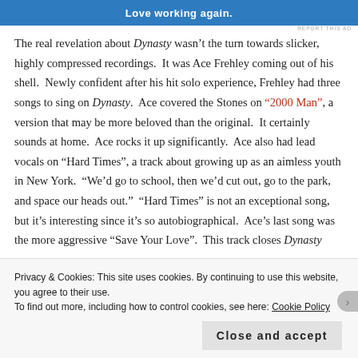[Figure (other): Blue advertisement banner with white bold text 'Love working again.']
The real revelation about Dynasty wasn't the turn towards slicker, highly compressed recordings.  It was Ace Frehley coming out of his shell.  Newly confident after his hit solo experience, Frehley had three songs to sing on Dynasty.  Ace covered the Stones on "2000 Man", a version that may be more beloved than the original.  It certainly sounds at home.  Ace rocks it up significantly.  Ace also had lead vocals on “Hard Times”, a track about growing up as an aimless youth in New York.  “We’d go to school, then we’d cut out, go to the park, and space our heads out.”  “Hard Times” is not an exceptional song, but it’s interesting since it’s so autobiographical.  Ace’s last song was the more aggressive “Save Your Love”.  This track closes Dynasty with the kind of rock that people often forget is on the album.  Ace’s
Privacy & Cookies: This site uses cookies. By continuing to use this website, you agree to their use.
To find out more, including how to control cookies, see here: Cookie Policy
Close and accept